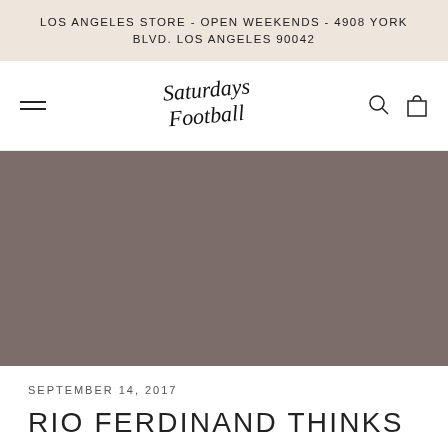LOS ANGELES STORE - OPEN WEEKENDS - 4908 YORK BLVD. LOS ANGELES 90042
[Figure (logo): Saturdays Football script logo in handwritten style]
[Figure (photo): Large hero image area with muted brownish-grey solid color background]
SEPTEMBER 14, 2017
RIO FERDINAND THINKS